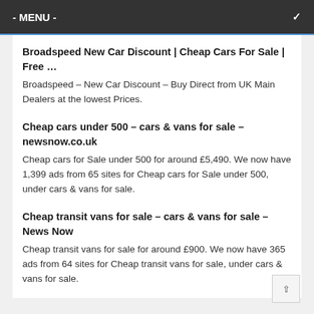- MENU -
Broadspeed New Car Discount | Cheap Cars For Sale | Free …
Broadspeed – New Car Discount – Buy Direct from UK Main Dealers at the lowest Prices.
Cheap cars under 500 – cars & vans for sale – newsnow.co.uk
Cheap cars for Sale under 500 for around £5,490. We now have 1,399 ads from 65 sites for Cheap cars for Sale under 500, under cars & vans for sale.
Cheap transit vans for sale – cars & vans for sale – News Now
Cheap transit vans for sale for around £900. We now have 365 ads from 64 sites for Cheap transit vans for sale, under cars & vans for sale.
Buy & Sell Cars in Preston - Cheap New & Used Cars for …